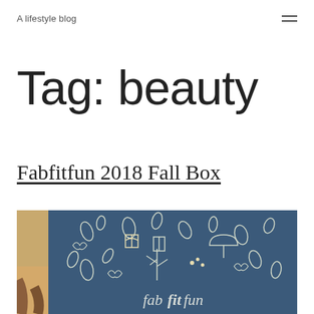A lifestyle blog
Tag: beauty
Fabfitfun 2018 Fall Box
[Figure (photo): Photograph of a dark blue FabFitFun branded tote bag with white floral and leaf illustrations, placed on a wooden surface with brown leather bag straps visible in the foreground. The bag displays the 'fabfitfun' logo in script lettering.]